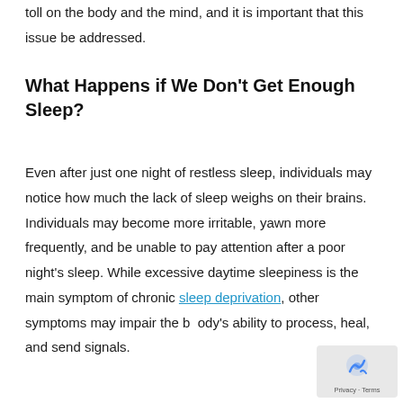toll on the body and the mind, and it is important that this issue be addressed.
What Happens if We Don't Get Enough Sleep?
Even after just one night of restless sleep, individuals may notice how much the lack of sleep weighs on their brains. Individuals may become more irritable, yawn more frequently, and be unable to pay attention after a poor night's sleep. While excessive daytime sleepiness is the main symptom of chronic sleep deprivation, other symptoms may impair the body's ability to process, heal, and send signals.